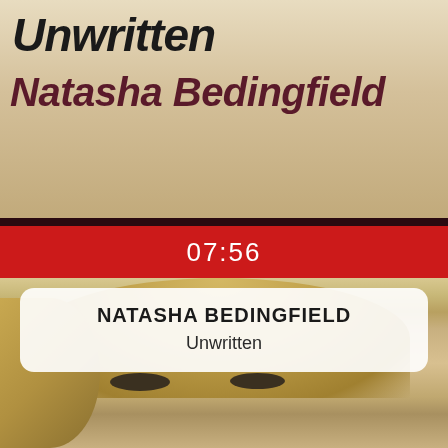[Figure (photo): Album art for 'Unwritten' by Natasha Bedingfield showing stylized text overlay on an image]
07:56
NATASHA BEDINGFIELD
Unwritten
[Figure (photo): Close-up portrait photo of a blonde woman (Natasha Bedingfield) with subtle facial features]